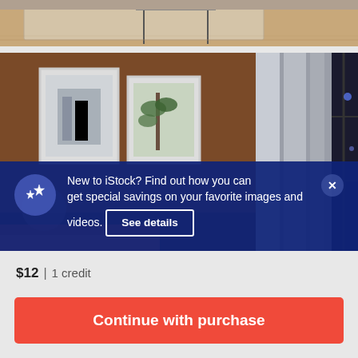[Figure (photo): Partial view of a living room interior — a light-colored rug and glass-and-metal coffee table on a wood floor, cropped at top of page]
[Figure (photo): Interior bedroom scene with wooden wall paneling, two framed artworks, curtains and a city-view window at night]
New to iStock? Find out how you can get special savings on your favorite images and videos.
See details
$12 | 1 credit
Continue with purchase